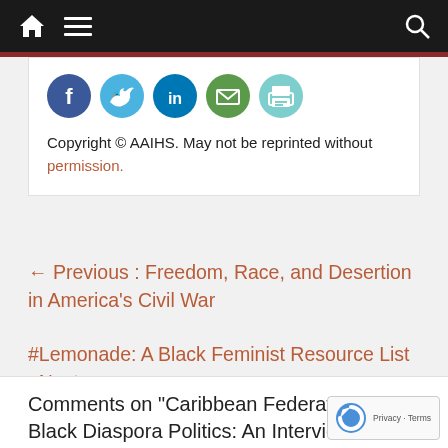Home | Menu | Search
[Figure (other): Social media sharing icons: Facebook (blue circle), Twitter (light blue circle), LinkedIn (blue circle), Email (green circle), Print (teal circle)]
Copyright © AAIHS. May not be reprinted without permission.
← Previous : Freedom, Race, and Desertion in America's Civil War
#Lemonade: A Black Feminist Resource List : Next →
Comments on "Caribbean Federation a… Black Diaspora Politics: An Interview with